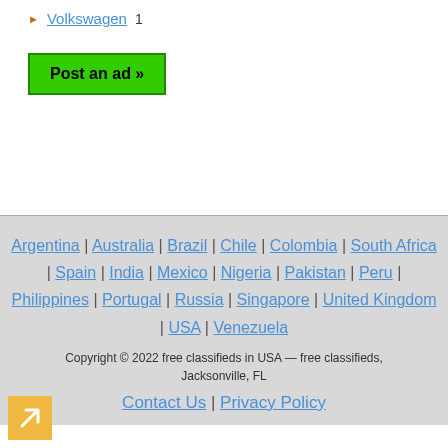Volkswagen  1
Post an ad »
Argentina | Australia | Brazil | Chile | Colombia | South Africa | Spain | India | Mexico | Nigeria | Pakistan | Peru | Philippines | Portugal | Russia | Singapore | United Kingdom | USA | Venezuela
Copyright © 2022 free classifieds in USA — free classifieds, Jacksonville, FL
Contact Us | Privacy Policy